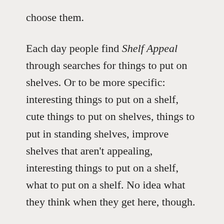choose them.
Each day people find Shelf Appeal through searches for things to put on shelves. Or to be more specific: interesting things to put on a shelf, cute things to put on shelves, things to put in standing shelves, improve shelves that aren’t appealing, interesting things to put on a shelf, what to put on a shelf. No idea what they think when they get here, though.
I have my shelves of choice. But I rather like the idea of companies providing specific shelves designed to keep their products on